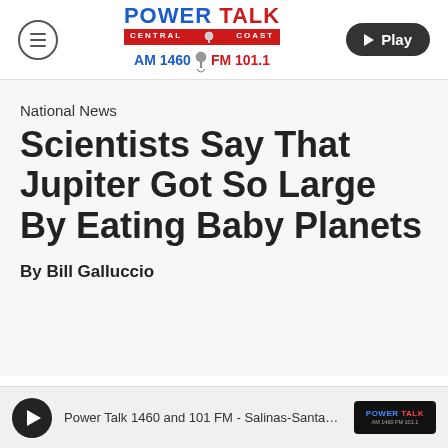[Figure (logo): Power Talk Central Coast AM 1460 FM 101.1 radio station logo with hamburger menu and Play button]
National News
Scientists Say That Jupiter Got So Large By Eating Baby Planets
By Bill Galluccio
[Figure (screenshot): Audio player bar with play button and text: Power Talk 1460 and 101 FM - Salinas-Santa Cruz-Mon...]